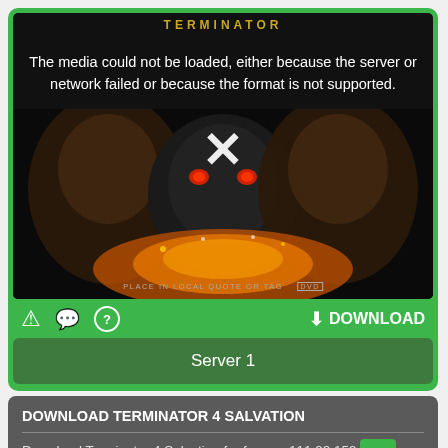[Figure (screenshot): Video player with black background showing Terminator 4 Salvation movie poster thumbnail. An X mark is displayed in the center indicating media load failure. Error message overlay reads: The media could not be loaded, either because the server or network failed or because the format is not supported. Bottom of poster reads PLACE IN LOCAL QUOTE OR TAG with DVD logo.]
The media could not be loaded, either because the server or network failed or because the format is not supported.
⬇ DOWNLOAD
Server 1
DOWNLOAD TERMINATOR 4 SALVATION
Download Terminator 4 Salvation for free on 111.90.159.1